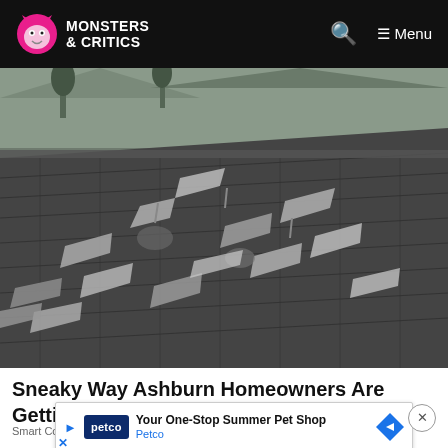MONSTERS & CRITICS  Menu
[Figure (photo): Damaged roof with curling and peeling asphalt shingles, showing significant deterioration. Background shows neighboring house roofs and trees under overcast sky.]
Sneaky Way Ashburn Homeowners Are Getting Their Old Roof Replaced
Smart Co
[Figure (infographic): Advertisement overlay: Petco 'Your One-Stop Summer Pet Shop' ad with Petco blue logo, blue play arrow, navigation arrow icon, and close button (X).]